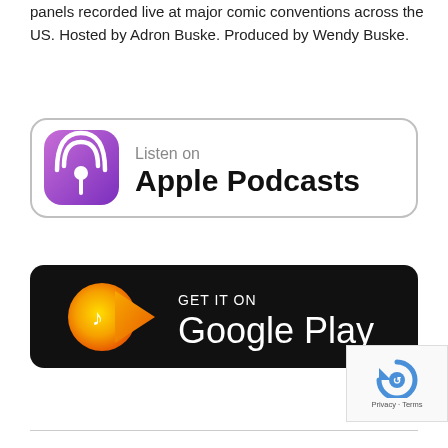panels recorded live at major comic conventions across the US. Hosted by Adron Buske. Produced by Wendy Buske.
[Figure (logo): Apple Podcasts badge: purple podcast icon on left, text 'Listen on Apple Podcasts' on right, rounded rectangle border]
[Figure (logo): Google Play Music badge: black rounded rectangle with orange/yellow play button icon, text 'GET IT ON Google Play' in white]
[Figure (other): reCAPTCHA widget with refresh icon, 'Privacy · Terms' text below]